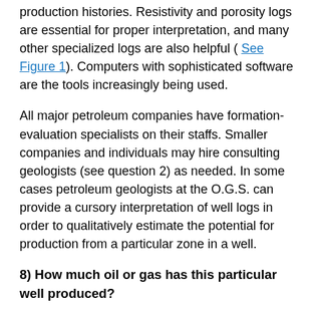production histories. Resistivity and porosity logs are essential for proper interpretation, and many other specialized logs are also helpful ( See Figure 1). Computers with sophisticated software are the tools increasingly being used.
All major petroleum companies have formation-evaluation specialists on their staffs. Smaller companies and individuals may hire consulting geologists (see question 2) as needed. In some cases petroleum geologists at the O.G.S. can provide a cursory interpretation of well logs in order to qualitatively estimate the potential for production from a particular zone in a well.
8) How much oil or gas has this particular well produced?
In Oklahoma, production is reported by lease, and a single lease may have many wells. Therefore, figures for an individual well may not be available, but they can be estimated. Oil and gas producers report petroleum production to the Oklahoma